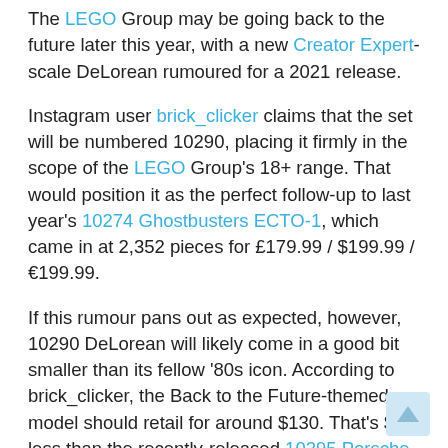The LEGO Group may be going back to the future later this year, with a new Creator Expert-scale DeLorean rumoured for a 2021 release.
Instagram user brick_clicker claims that the set will be numbered 10290, placing it firmly in the scope of the LEGO Group's 18+ range. That would position it as the perfect follow-up to last year's 10274 Ghostbusters ECTO-1, which came in at 2,352 pieces for £179.99 / $199.99 / €199.99.
If this rumour pans out as expected, however, 10290 DeLorean will likely come in a good bit smaller than its fellow '80s icon. According to brick_clicker, the Back to the Future-themed model should retail for around $130. That's $20 less than the recently-released 10295 Porsche 911, to give you some sense of the scale it may be aiming for – but it would still be much bigger than Ideas' 21103